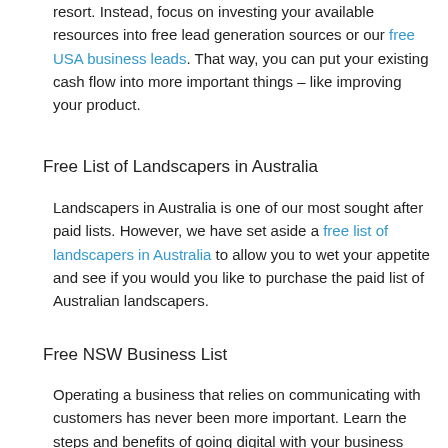resort. Instead, focus on investing your available resources into free lead generation sources or our free USA business leads. That way, you can put your existing cash flow into more important things – like improving your product.
Free List of Landscapers in Australia
Landscapers in Australia is one of our most sought after paid lists. However, we have set aside a free list of landscapers in Australia to allow you to wet your appetite and see if you would you like to purchase the paid list of Australian landscapers.
Free NSW Business List
Operating a business that relies on communicating with customers has never been more important. Learn the steps and benefits of going digital with your business and where you can go for help. Having your